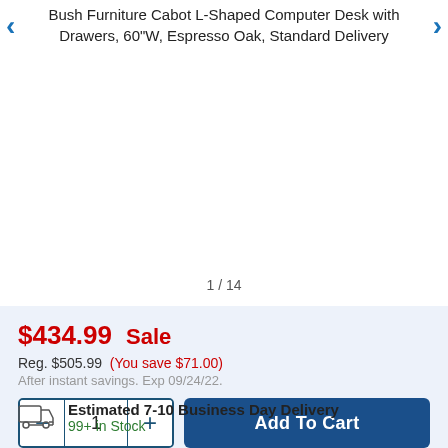Bush Furniture Cabot L-Shaped Computer Desk with Drawers, 60"W, Espresso Oak, Standard Delivery
1 / 14
$434.99  Sale
Reg. $505.99  (You save $71.00)
After instant savings. Exp 09/24/22.
Add To Cart
Estimated 7-10 Business Day Delivery
99+ in Stock